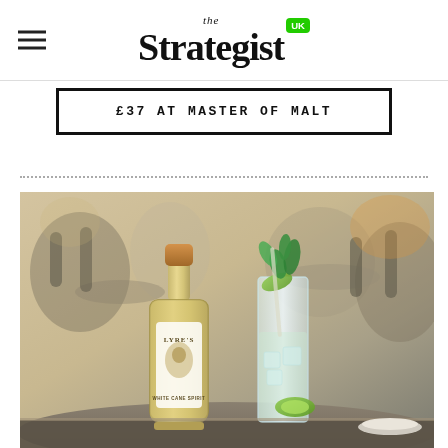the Strategist UK
£37 AT MASTER OF MALT
[Figure (photo): A bottle of Lyre's White Cane Spirit with a yellow label and gold cap, next to a cocktail glass garnished with mint and lime slices, set in a bar/restaurant environment with blurred chairs and tables in the background.]